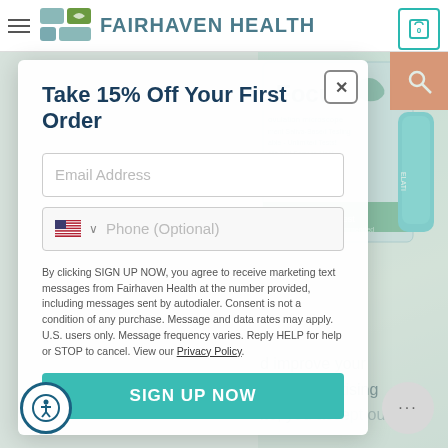FAIRHAVEN HEALTH
[Figure (screenshot): Fairhaven Health website screenshot showing email signup modal overlay with 'Take 15% Off Your First Order' offer, email and phone input fields, disclaimer text, and SIGN UP NOW button. Right side shows product image of Focus ovulation microscope.]
Take 15% Off Your First Order
Email Address
Phone (Optional)
By clicking SIGN UP NOW, you agree to receive marketing text messages from Fairhaven Health at the number provided, including messages sent by autodialer. Consent is not a condition of any purchase. Message and data rates may apply. U.S. users only. Message frequency varies. Reply HELP for help or STOP to cancel. View our Privacy Policy.
SIGN UP NOW